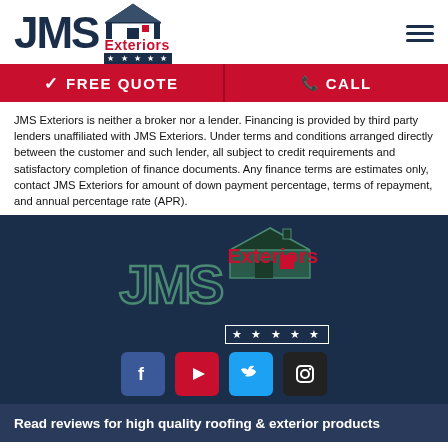[Figure (logo): JMS Exteriors logo with house graphic and stars, plus hamburger menu icon]
[Figure (infographic): Red navigation bar with FREE QUOTE and CALL buttons]
JMS Exteriors is neither a broker nor a lender. Financing is provided by third party lenders unaffiliated with JMS Exteriors. Under terms and conditions arranged directly between the customer and such lender, all subject to credit requirements and satisfactory completion of finance documents. Any finance terms are estimates only, contact JMS Exteriors for amount of down payment percentage, terms of repayment, and annual percentage rate (APR).
[Figure (logo): JMS Exteriors footer logo with house graphic and stars on dark navy background]
[Figure (infographic): Social media icons row: Facebook, YouTube, Twitter, Instagram]
Read reviews for high quality roofing & exterior products